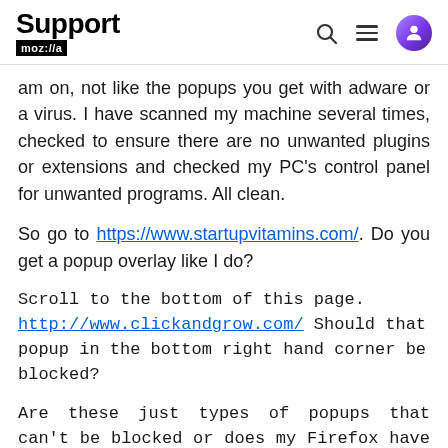Support moz://a
am on, not like the popups you get with adware or a virus. I have scanned my machine several times, checked to ensure there are no unwanted plugins or extensions and checked my PC's control panel for unwanted programs. All clean.
So go to https://www.startupvitamins.com/. Do you get a popup overlay like I do?
Scroll to the bottom of this page. http://www.clickandgrow.com/ Should that popup in the bottom right hand corner be blocked?
Are these just types of popups that can't be blocked or does my Firefox have some issue?
Thanks